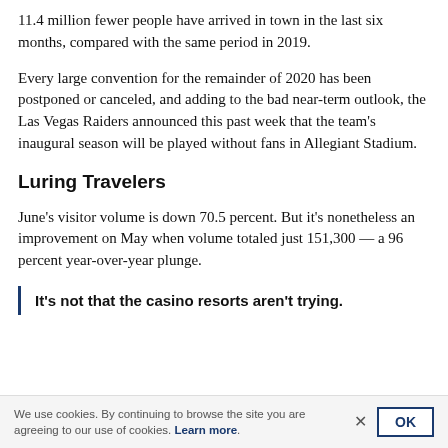11.4 million fewer people have arrived in town in the last six months, compared with the same period in 2019.
Every large convention for the remainder of 2020 has been postponed or canceled, and adding to the bad near-term outlook, the Las Vegas Raiders announced this past week that the team's inaugural season will be played without fans in Allegiant Stadium.
Luring Travelers
June's visitor volume is down 70.5 percent. But it's nonetheless an improvement on May when volume totaled just 151,300 — a 96 percent year-over-year plunge.
It's not that the casino resorts aren't trying.
We use cookies. By continuing to browse the site you are agreeing to our use of cookies. Learn more.